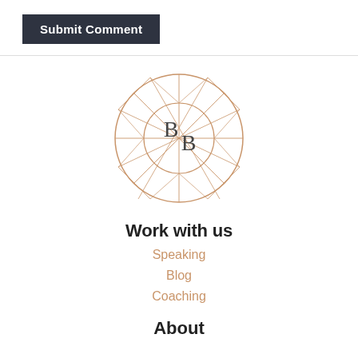Submit Comment
[Figure (logo): BB monogram logo inside a geometric diamond/gem facet circle outline in rose gold color with 'B B' letters in the center]
Work with us
Speaking
Blog
Coaching
About